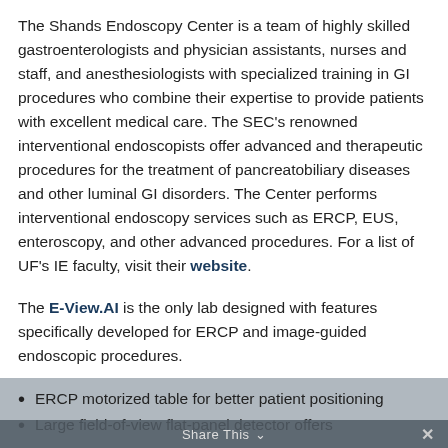The Shands Endoscopy Center is a team of highly skilled gastroenterologists and physician assistants, nurses and staff, and anesthesiologists with specialized training in GI procedures who combine their expertise to provide patients with excellent medical care. The SEC's renowned interventional endoscopists offer advanced and therapeutic procedures for the treatment of pancreatobiliary diseases and other luminal GI disorders. The Center performs interventional endoscopy services such as ERCP, EUS, enteroscopy, and other advanced procedures. For a list of UF's IE faculty, visit their website.
The E-View.AI is the only lab designed with features specifically developed for ERCP and image-guided endoscopic procedures.
ERCP motorized table for better patient positioning
Large field-of-view flat-panel detector offers